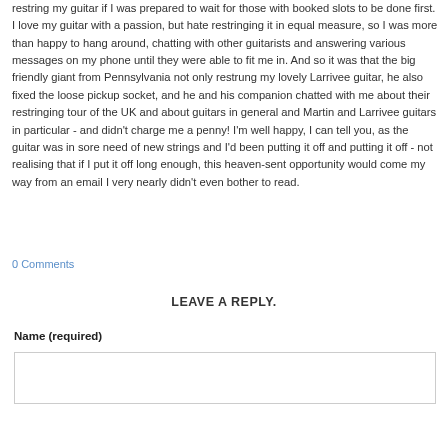restring my guitar if I was prepared to wait for those with booked slots to be done first. I love my guitar with a passion, but hate restringing it in equal measure, so I was more than happy to hang around, chatting with other guitarists and answering various messages on my phone until they were able to fit me in. And so it was that the big friendly giant from Pennsylvania not only restrung my lovely Larrivee guitar, he also fixed the loose pickup socket, and he and his companion chatted with me about their restringing tour of the UK and about guitars in general and Martin and Larrivee guitars in particular - and didn't charge me a penny! I'm well happy, I can tell you, as the guitar was in sore need of new strings and I'd been putting it off and putting it off - not realising that if I put it off long enough, this heaven-sent opportunity would come my way from an email I very nearly didn't even bother to read.
0 Comments
LEAVE A REPLY.
Name (required)